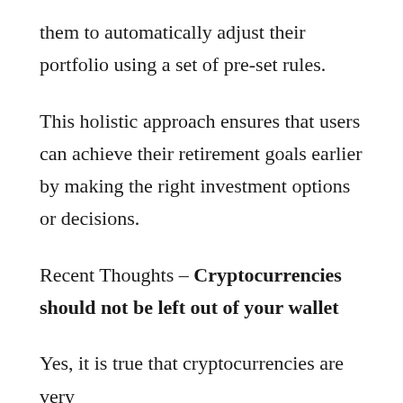them to automatically adjust their portfolio using a set of pre-set rules.
This holistic approach ensures that users can achieve their retirement goals earlier by making the right investment options or decisions.
Recent Thoughts – Cryptocurrencies should not be left out of your wallet
Yes, it is true that cryptocurrencies are very